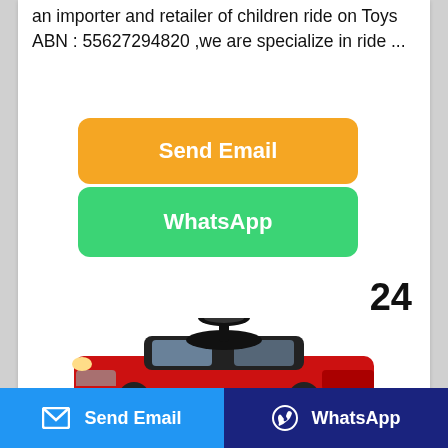an importer and retailer of children ride on Toys ABN : 55627294820 ,we are specialize in ride ...
[Figure (screenshot): Orange 'Send Email' button]
[Figure (screenshot): Green 'WhatsApp' button]
24
[Figure (photo): Red children's ride-on toy car with black steering wheel and seat, Bentley-style]
[Figure (screenshot): Bottom bar with blue 'Send Email' button and dark blue 'WhatsApp' button]